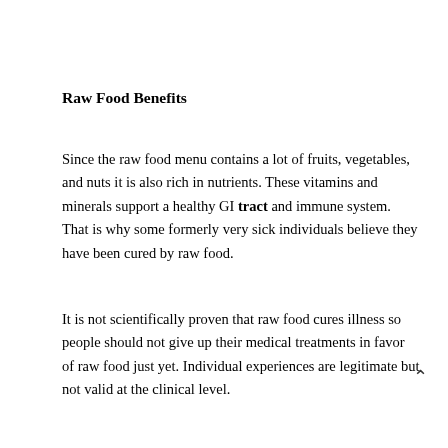Raw Food Benefits
Since the raw food menu contains a lot of fruits, vegetables, and nuts it is also rich in nutrients. These vitamins and minerals support a healthy GI tract and immune system. That is why some formerly very sick individuals believe they have been cured by raw food.
It is not scientifically proven that raw food cures illness so people should not give up their medical treatments in favor of raw food just yet. Individual experiences are legitimate but not valid at the clinical level.